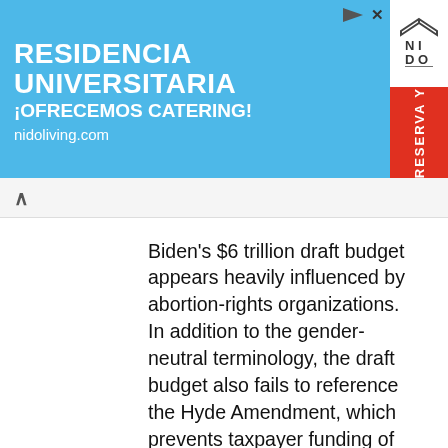[Figure (infographic): Advertisement banner for Residencia Universitaria (NIDO living). Blue background with white bold text reading RESIDENCIA UNIVERSITARIA ¡OFRECEMOS CATERING! nidoliving.com. Red vertical sidebar with white text RESERVA Y. White box with NIDO logo.]
Biden’s $6 trillion draft budget appears heavily influenced by abortion-rights organizations. In addition to the gender-neutral terminology, the draft budget also fails to reference the Hyde Amendment, which prevents taxpayer funding of abortion services through Medicaid, Medicare, or healthcare plans for federal employees and members of the military. The Biden budget is the first since 1977 to omit the safeguard.